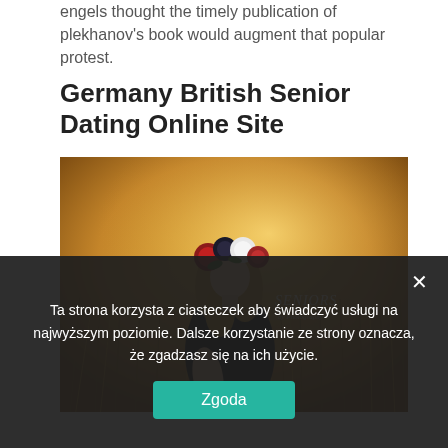engels thought the timely publication of plekhanov's book would augment that popular protest.
Germany British Senior Dating Online Site
[Figure (photo): Young woman with floral crown sitting in golden meadow, with 'Seniors by Photography' watermark overlay]
Ta strona korzysta z ciasteczek aby świadczyć usługi na najwyższym poziomie. Dalsze korzystanie ze strony oznacza, że zgadzasz się na ich użycie.
Zgoda